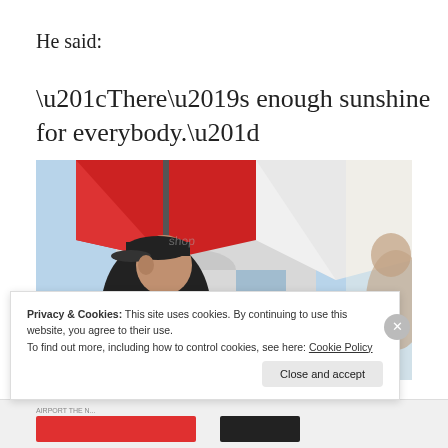He said:
“There’s enough sunshine for everybody.”
[Figure (photo): A man wearing a dark baseball cap looks to the left in profile, with large red and white umbrellas overhead and a building with glass storefronts in the background. Bright sunlight creates a hazy atmosphere.]
Privacy & Cookies: This site uses cookies. By continuing to use this website, you agree to their use.
To find out more, including how to control cookies, see here: Cookie Policy
Close and accept